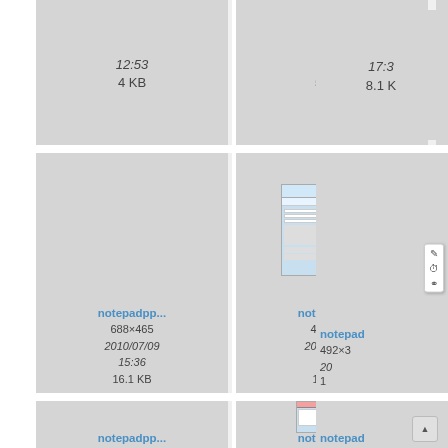[Figure (screenshot): File browser grid showing notepad++ screenshot thumbnails with metadata. Top row partial cells show times 12:53/4KB, 17:53/528B, 17:3.../8.1K. Middle row: notepadpp... 688x465 2010/07/09 15:36 16.1KB (blank thumbnail), notepadpp... 492x330 2010/06/15 15:16 12.6KB (screenshot thumbnail), notepadpp... 492x3... 20[truncated] with edit/clock/link icons visible. Bottom row: notepadpp... (blank), notepadpp... (screenshot thumbnail), notepad... (partial with scroll-to-top button).]